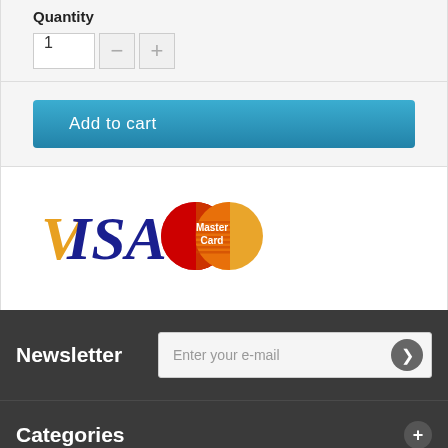Quantity
1
Add to cart
[Figure (logo): VISA and MasterCard payment logos side by side]
Newsletter
Enter your e-mail
Categories